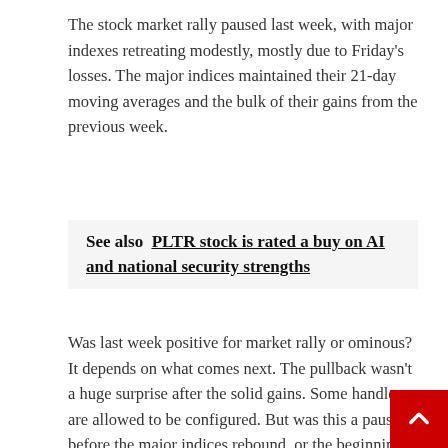The stock market rally paused last week, with major indexes retreating modestly, mostly due to Friday's losses. The major indices maintained their 21-day moving averages and the bulk of their gains from the previous week.
See also  PLTR stock is rated a buy on AI and national security strengths
Was last week positive for market rally or ominous? It depends on what comes next. The pullback wasn't a huge surprise after the solid gains. Some handles are allowed to be configured. But was this a pause before the major indices rebound, or the beginning of a dip back to lower levels? The rally above this week's highs may be just step closer. The 50-day moving average of the major indicators looms large, with several other major hurdles ahead.